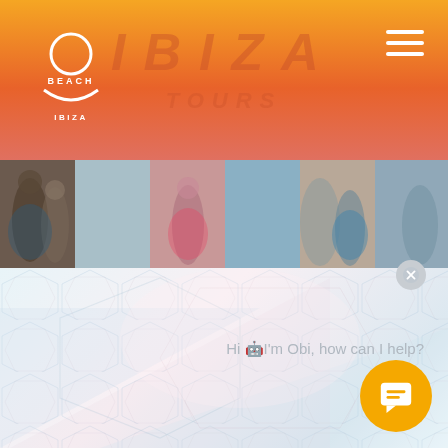O Beach Ibiza – Tours
[Figure (photo): Beach party photo strip showing groups of people at a beach club]
[Figure (screenshot): Website body area with geometric hexagon/triangle pattern background in light blue and pink tones]
Hi 🤖I'm Obi, how can I help?